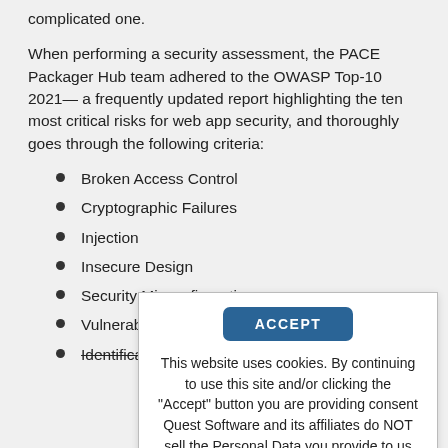complicated one.
When performing a security assessment, the PACE Packager Hub team adhered to the OWASP Top-10 2021— a frequently updated report highlighting the ten most critical risks for web app security, and thoroughly goes through the following criteria:
Broken Access Control
Cryptographic Failures
Injection
Insecure Design
Security Misconfiguration
Vulnerable and Outdated Components
Identification and Authentication Failures
ACCEPT
This website uses cookies. By continuing to use this site and/or clicking the "Accept" button you are providing consent Quest Software and its affiliates do NOT sell the Personal Data you provide to us either when you register on our websites or